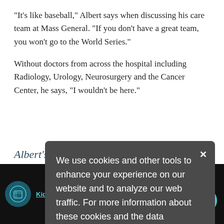"It's like baseball," Albert says when discussing his care team at Mass General. "If you don't have a great team, you won't go to the World Series."
Without doctors from across the hospital including Radiology, Urology, Neurosurgery and the Cancer Center, he says, "I wouldn't be here."
Albert's Story: A Video
Cancer ... ing Pain
[Figure (screenshot): Cookie consent popup overlay with dark gray background. Text reads: 'We use cookies and other tools to enhance your experience on our website and to analyze our web traffic. For more information about these cookies and the data collected, please refer to our Privacy Policy.' with a close X button in top right.]
[Figure (screenshot): Video thumbnail at bottom of page showing Mass General logo, title 'Kidney Cancer Patient Finds Relief ...' in teal underlined text, three-dot menu icon, and a teal circular TOP button with upward arrow.]